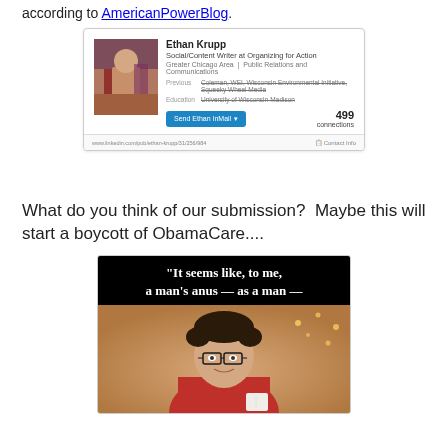according to AmericanPowerBlog.
[Figure (screenshot): LinkedIn profile card for Ethan Krupp, Social/Content Writer at Organizing for Action, Greater Chicago Area, Public Relations and Communications. Previous: Coleman, WEI, Wisconsin Environmental Initiative, Squeeky Wheel Media. Education: University of Wisconsin-Madison. 499 connections. Send Ethan InMail button.]
What do you think of our submission?  Maybe this will start a boycott of ObamaCare....
[Figure (photo): Meme image with black header text reading: "It seems like, to me, a man's anus — as a man —" over a photo of a young man with curly hair wearing glasses and a red plaid shirt, holding a white cup, with blurred string lights in the background.]